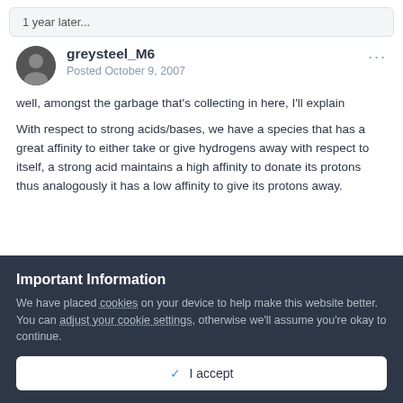1 year later...
greysteel_M6
Posted October 9, 2007
well, amongst the garbage that's collecting in here, I'll explain
With respect to strong acids/bases, we have a species that has a great affinity to either take or give hydrogens away with respect to itself, a strong acid maintains a high affinity to donate its protons thus analogously it has a low affinity to give its protons away.
Important Information
We have placed cookies on your device to help make this website better. You can adjust your cookie settings, otherwise we'll assume you're okay to continue.
✓ I accept